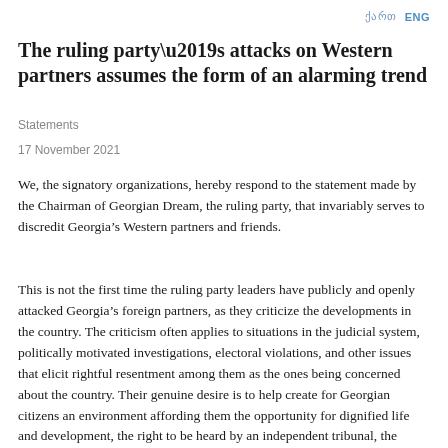ქართ   ENG
The ruling party’s attacks on Western partners assumes the form of an alarming trend
Statements
17 November 2021
We, the signatory organizations, hereby respond to the statement made by the Chairman of Georgian Dream, the ruling party, that invariably serves to discredit Georgia’s Western partners and friends.
This is not the first time the ruling party leaders have publicly and openly attacked Georgia’s foreign partners, as they criticize the developments in the country. The criticism often applies to situations in the judicial system, politically motivated investigations, electoral violations, and other issues that elicit rightful resentment among them as the ones being concerned about the country. Their genuine desire is to help create for Georgian citizens an environment affording them the opportunity for dignified life and development, the right to be heard by an independent tribunal, the opportunity to freely express their opinions, an environment where the